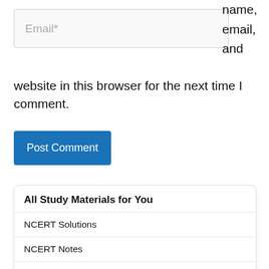Email*
name, email, and website in this browser for the next time I comment.
Post Comment
All Study Materials for You
NCERT Solutions
NCERT Notes
CBSE Sample Papers
Topper Answer Sheets